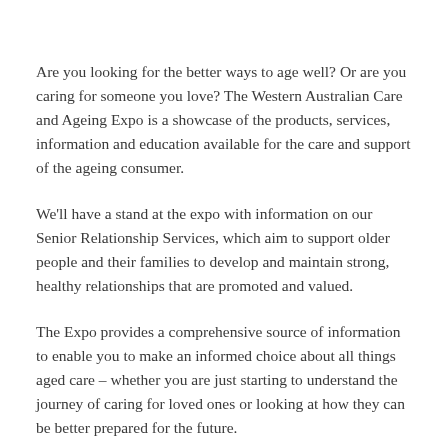Are you looking for the better ways to age well? Or are you caring for someone you love? The Western Australian Care and Ageing Expo is a showcase of the products, services, information and education available for the care and support of the ageing consumer.
We'll have a stand at the expo with information on our Senior Relationship Services, which aim to support older people and their families to develop and maintain strong, healthy relationships that are promoted and valued.
The Expo provides a comprehensive source of information to enable you to make an informed choice about all things aged care – whether you are just starting to understand the journey of caring for loved ones or looking at how they can be better prepared for the future.
This event will benefit those planning for their own needs and